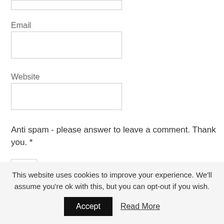Email
Website
Anti spam - please answer to leave a comment. Thank you. *
This website uses cookies to improve your experience. We'll assume you're ok with this, but you can opt-out if you wish.
Accept
Read More